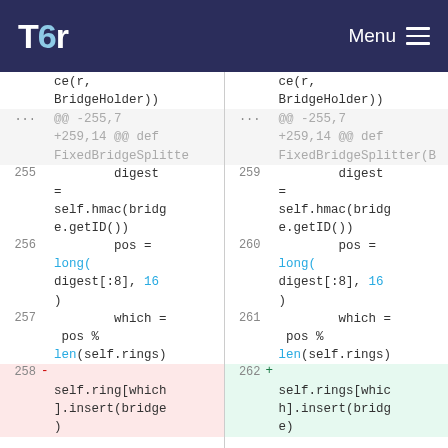Tor — Menu
[Figure (screenshot): Side-by-side code diff view showing Python code changes. Left side (old) and right side (new) show line numbers, diff markers, and code using monospace font. Lines 255-258 on left, 259-262 on right. Key change: self.ring[which].insert(bridge) changed to self.rings[which].insert(bridge). Highlighted rows: line 258 (red/deleted) and 262 (green/added).]